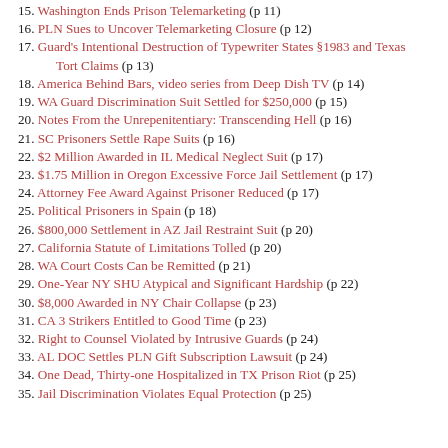15. Washington Ends Prison Telemarketing (p 11)
16. PLN Sues to Uncover Telemarketing Closure (p 12)
17. Guard's Intentional Destruction of Typewriter States §1983 and Texas Tort Claims (p 13)
18. America Behind Bars, video series from Deep Dish TV (p 14)
19. WA Guard Discrimination Suit Settled for $250,000 (p 15)
20. Notes From the Unrepenitentiary: Transcending Hell (p 16)
21. SC Prisoners Settle Rape Suits (p 16)
22. $2 Million Awarded in IL Medical Neglect Suit (p 17)
23. $1.75 Million in Oregon Excessive Force Jail Settlement (p 17)
24. Attorney Fee Award Against Prisoner Reduced (p 17)
25. Political Prisoners in Spain (p 18)
26. $800,000 Settlement in AZ Jail Restraint Suit (p 20)
27. California Statute of Limitations Tolled (p 20)
28. WA Court Costs Can be Remitted (p 21)
29. One-Year NY SHU Atypical and Significant Hardship (p 22)
30. $8,000 Awarded in NY Chair Collapse (p 23)
31. CA 3 Strikers Entitled to Good Time (p 23)
32. Right to Counsel Violated by Intrusive Guards (p 24)
33. AL DOC Settles PLN Gift Subscription Lawsuit (p 24)
34. One Dead, Thirty-one Hospitalized in TX Prison Riot (p 25)
35. Jail Discrimination Violates Equal Protection (p 25)